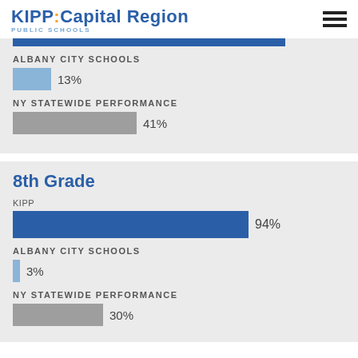KIPP: Capital Region PUBLIC SCHOOLS
[Figure (bar-chart): Albany City Schools & NY Statewide Performance]
8th Grade
[Figure (bar-chart): 8th Grade Performance]